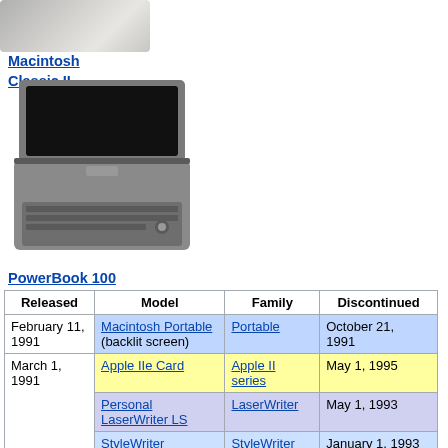Macintosh Classic II
[Figure (photo): Photo of a PowerBook 100 laptop computer, open, showing keyboard and screen]
PowerBook 100
| Released | Model | Family | Discontinued |
| --- | --- | --- | --- |
| February 11, 1991 | Macintosh Portable (backlit screen) | Portable | October 21, 1991 |
| March 1, 1991 | Apple IIe Card | Apple II series | May 1, 1995 |
| March 1, 1991 | Personal LaserWriter LS | LaserWriter | May 1, 1993 |
|  | StyleWriter | StyleWriter | January 1, 1993 |